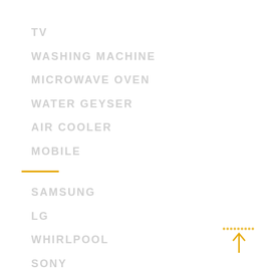TV
WASHING MACHINE
MICROWAVE OVEN
WATER GEYSER
AIR COOLER
MOBILE
SAMSUNG
LG
WHIRLPOOL
SONY
GODREJ